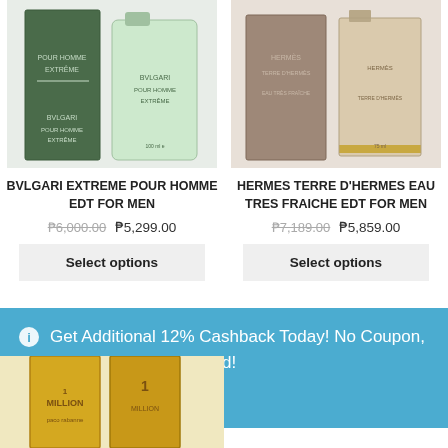[Figure (photo): Bvlgari Extreme Pour Homme product image showing box and bottle]
[Figure (photo): Hermes Terre D'Hermes Eau Tres Fraiche product image showing box and bottle]
BVLGARI EXTREME POUR HOMME EDT FOR MEN
₱6,000.00  ₱5,299.00
Select options
HERMES TERRE D'HERMES EAU TRES FRAICHE EDT FOR MEN
₱7,189.00  ₱5,859.00
Select options
ℹ Get Additional 12% Cashback Today! No Coupon, No Min Spend Required!
Dismiss
[Figure (photo): Paco Rabanne 1 Million perfume product image partially visible at bottom]